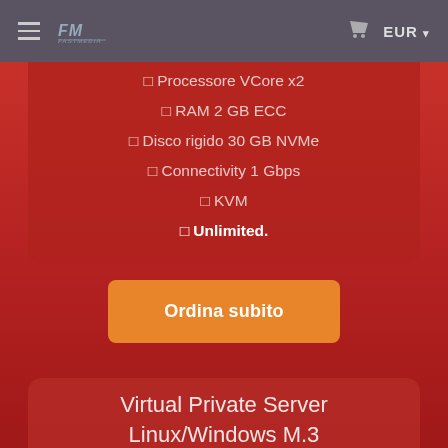≡  [logo]  EUR ▾
◻ Processore VCore x2
◻ RAM 2 GB ECC
◻ Disco rigido 30 GB NVMe
◻ Connectivity 1 Gbps
◻ KVM
◻ Unlimited.
Ordina subito
Virtual Private Server Linux/Windows M.3